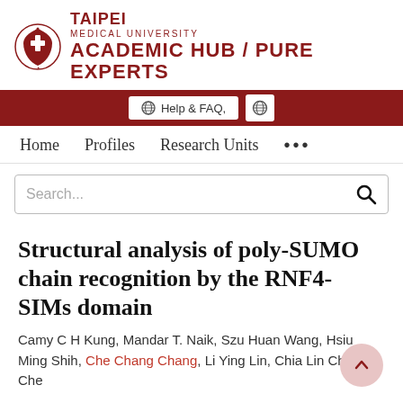[Figure (logo): Taipei Medical University Academic Hub / Pure Experts logo with shield emblem]
Help & FAQ,  [globe icon]
Home  Profiles  Research Units  ...
Search...
Structural analysis of poly-SUMO chain recognition by the RNF4-SIMs domain
Camy C H Kung, Mandar T. Naik, Szu Huan Wang, Hsiu Ming Shih, Che Chang Chang, Li Ying Lin, Chia Lin Chen, Che Kuei Pan, Chang Te Liu and others